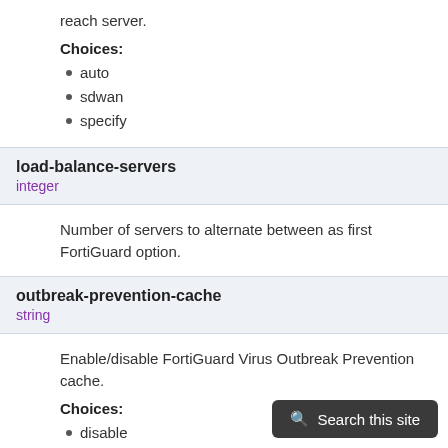reach server.
Choices:
auto
sdwan
specify
load-balance-servers
integer
Number of servers to alternate between as first FortiGuard option.
outbreak-prevention-cache
string
Enable/disable FortiGuard Virus Outbreak Prevention cache.
Choices:
disable
enable